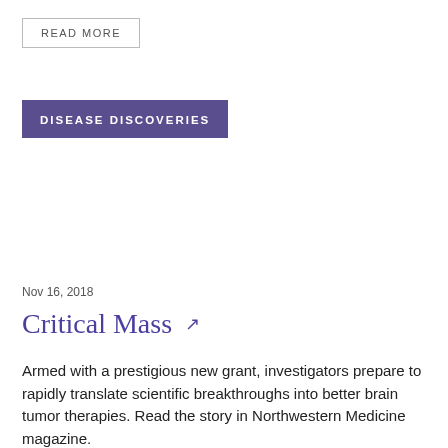READ MORE
DISEASE DISCOVERIES
Nov 16, 2018
Critical Mass ↗
Armed with a prestigious new grant, investigators prepare to rapidly translate scientific breakthroughs into better brain tumor therapies. Read the story in Northwestern Medicine magazine.